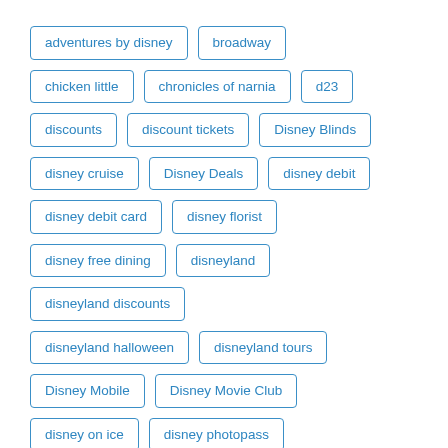adventures by disney
broadway
chicken little
chronicles of narnia
d23
discounts
discount tickets
Disney Blinds
disney cruise
Disney Deals
disney debit
disney debit card
disney florist
disney free dining
disneyland
disneyland discounts
disneyland halloween
disneyland tours
Disney Mobile
Disney Movie Club
disney on ice
disney photopass